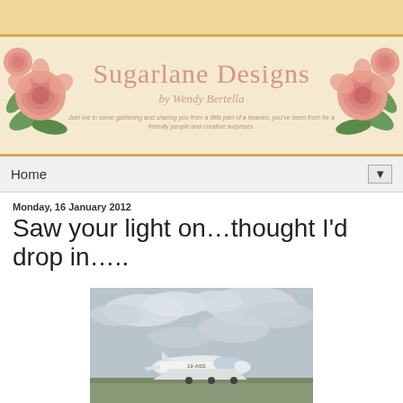[Figure (illustration): Top tan/gold colored bar decorative header strip]
[Figure (illustration): Sugarlane Designs blog banner with pink roses on left and right, cream background with scalloped border, title 'Sugarlane Designs' in pink script, subtitle 'by Wendy Bertella']
Home ▼
Monday, 16 January 2012
Saw your light on…thought I'd drop in…..
[Figure (photo): Photo of a small white light aircraft/plane on the ground with overcast cloudy sky in background. Registration visible on tail.]